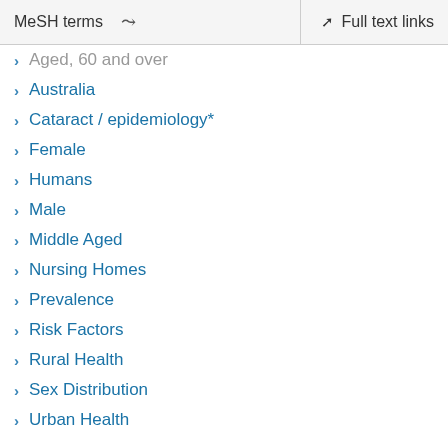MeSH terms   Full text links
Aged, 60 and over
Australia
Cataract / epidemiology*
Female
Humans
Male
Middle Aged
Nursing Homes
Prevalence
Risk Factors
Rural Health
Sex Distribution
Urban Health
Related information
MedGen